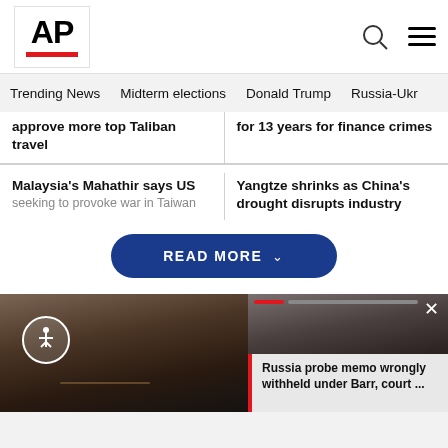AP
Trending News   Midterm elections   Donald Trump   Russia-Ukr
approve more top Taliban travel
for 13 years for finance crimes
Malaysia's Mahathir says US seeking to provoke war in Taiwan
Yangtze shrinks as China's drought disrupts industry
READ MORE
[Figure (photo): Close-up photo of a man with glasses looking down, dark background]
[Figure (photo): Thumbnail photo of William Barr with glasses]
Russia probe memo wrongly withheld under Barr, court ...